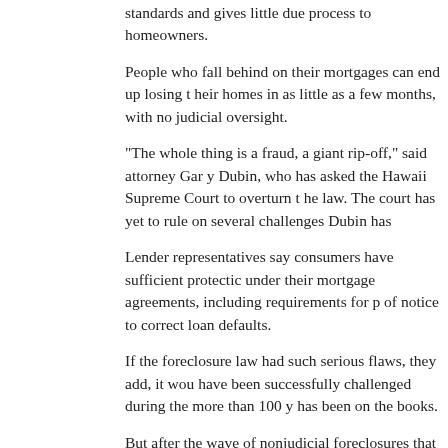standards and gives little due process to homeowners.
People who fall behind on their mortgages can end up losing their homes in as little as a few months, with no judicial oversight.
"The whole thing is a fraud, a giant rip-off," said attorney Gary Dubin, who has asked the Hawaii Supreme Court to overturn the law. The court has yet to rule on several challenges Dubin has
Lender representatives say consumers have sufficient protections under their mortgage agreements, including requirements for periods of notice to correct loan defaults.
If the foreclosure law had such serious flaws, they add, it would have been successfully challenged during the more than 100 years it has been on the books.
But after the wave of nonjudicial foreclosures that hit Hawaii through the early 1900s, the law apparently was little used until a few years ago, largely because title companies were reluctant to provide insurance for such cases.
Once the title concerns were addressed, lenders started using the nonjudicial process more frequently, attracted by the less cumbersome requirements compared with the court-supervised procedures.